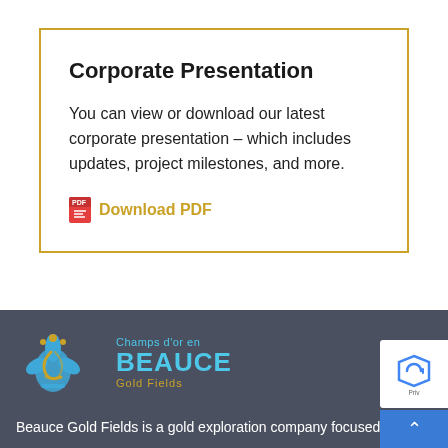Corporate Presentation
You can view or download our latest corporate presentation – which includes updates, project milestones, and more.
Download PDF
[Figure (logo): Beauce Gold Fields logo with fleur-de-lis symbol, text: Champs d'or en BEAUCE Gold Fields]
Beauce Gold Fields is a gold exploration company focused